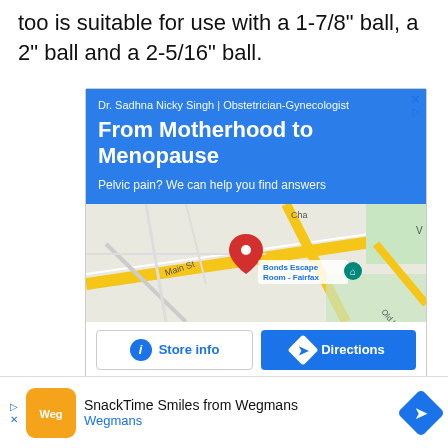too is suitable for use with a 1-7/8" ball, a 2" ball and a 2-5/16" ball.
[Figure (screenshot): Google Maps advertisement for Dr. Sadhna Nicky Singh | Obstetrician-Gynecologist. Blue header with text 'From Motherhood to Menopause' and tagline 'Pelvic pain? We can help you find answers'. Below is a map showing Main St area with a red location pin near 'Bonds Escape Room - Fairfax'. Two buttons: 'Store info' and 'Directions'.]
[Figure (screenshot): Partial second advertisement with blue bar visible at top.]
[Figure (screenshot): Wegmans ad bar at bottom: 'SnackTime Smiles from Wegmans' with Wegmans orange logo and directions button.]